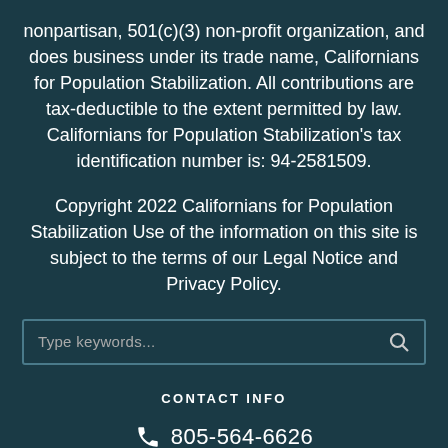nonpartisan, 501(c)(3) non-profit organization, and does business under its trade name, Californians for Population Stabilization. All contributions are tax-deductible to the extent permitted by law. Californians for Population Stabilization's tax identification number is: 94-2581509.
Copyright 2022 Californians for Population Stabilization Use of the information on this site is subject to the terms of our Legal Notice and Privacy Policy.
Type keywords...
CONTACT INFO
805-564-6626